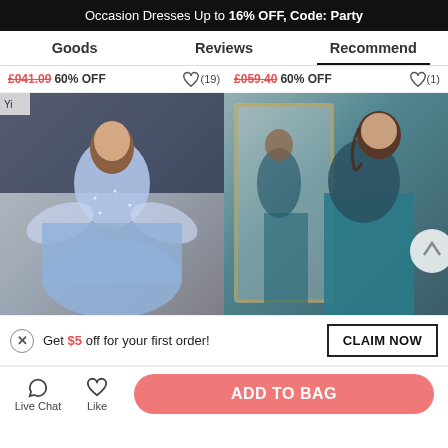Occasion Dresses Up to 16% OFF, Code: Party
Goods | Reviews | Recommend
60% OFF  (19)  60% OFF  (1)
[Figure (photo): Two product photos side by side: left shows a woman in a sparkly blue lace long-sleeve ball gown taking a mirror selfie; right shows a woman in a teal satin and lace sleeveless open-back gown posing in a store]
Get $5 off for your first order!
CLAIM NOW
Live Chat  Like  ADD TO BAG